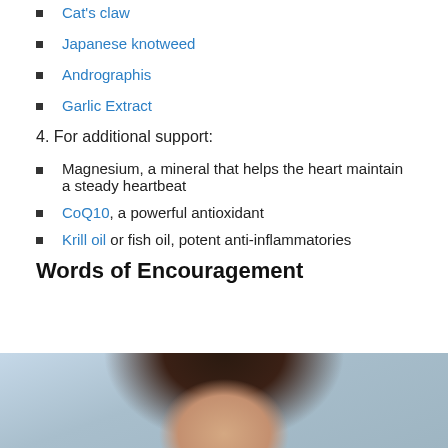Cat's claw
Japanese knotweed
Andrographis
Garlic Extract
4. For additional support:
Magnesium, a mineral that helps the heart maintain a steady heartbeat
CoQ10, a powerful antioxidant
Krill oil or fish oil, potent anti-inflammatories
Words of Encouragement
[Figure (photo): Photo of a woman with dark hair against a light blue background, cropped showing top of head and shoulders]